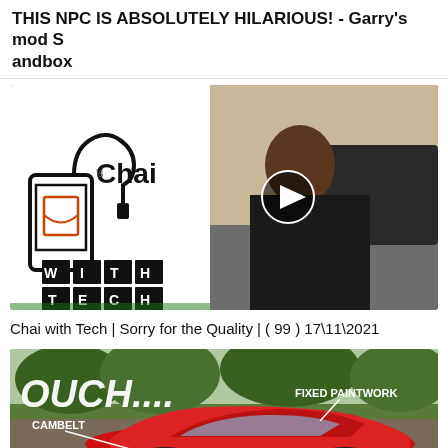THIS NPC IS ABSOLUTELY HILARIOUS! - Garry's mod Sandbox
[Figure (screenshot): YouTube video thumbnail showing a man at a laptop with 'Chai with Tech' logo overlay and a play button circle in the center]
Chai with Tech | Sorry for the Quality | ( 99 ) 17\11\2021
[Figure (screenshot): YouTube video thumbnail of a red sports car with text overlays reading 'OUCH....', 'CAMBELT', and 'FIXED PAINTWORK' with arrows pointing to the car]